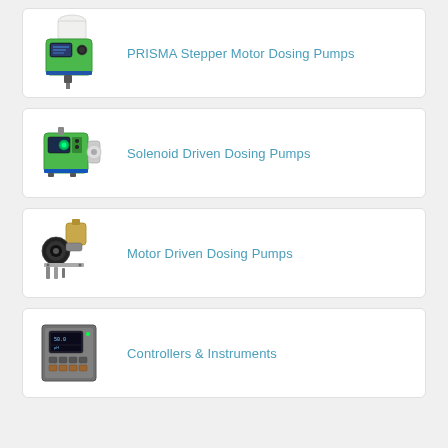[Figure (illustration): PRISMA Stepper Motor Dosing Pump - green peristaltic pump device with white bottle on top]
PRISMA Stepper Motor Dosing Pumps
[Figure (illustration): Solenoid Driven Dosing Pump - green compact solenoid dosing pump]
Solenoid Driven Dosing Pumps
[Figure (illustration): Motor Driven Dosing Pump - black and silver motor driven diaphragm pump with accessories]
Motor Driven Dosing Pumps
[Figure (illustration): Controller and Instrument panel - grey wall-mount controller with display screen]
Controllers & Instruments